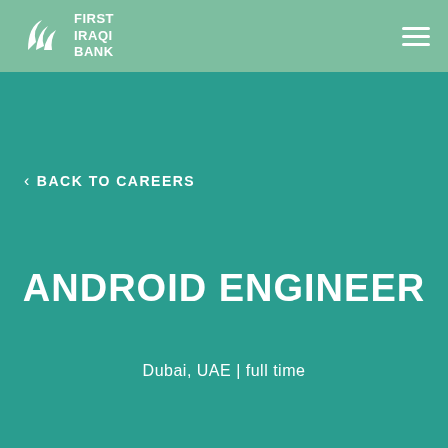FIRST IRAQI BANK
< BACK TO CAREERS
ANDROID ENGINEER
Dubai, UAE | full time